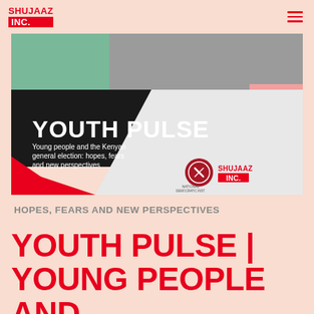SHUJAAZ INC.
[Figure (illustration): Youth Pulse report cover image showing geometric blocks of green, grey, black, white, and red colors with text 'YOUTH PULSE' in large bold white letters, subtitle 'Young people and the Kenyan general election: hopes, fears and new perspectives', with NDHU and Shujaaz Inc. logos in the bottom right corner.]
HOPES, FEARS AND NEW PERSPECTIVES
YOUTH PULSE | YOUNG PEOPLE AND